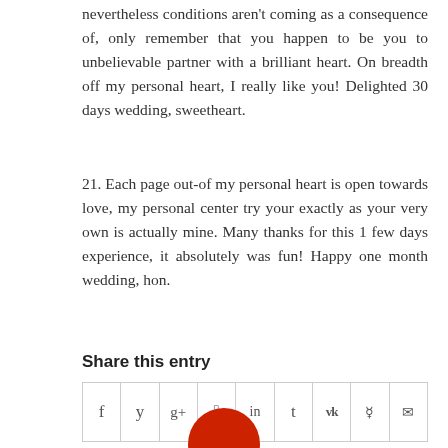nevertheless conditions aren't coming as a consequence of, only remember that you happen to be you to unbelievable partner with a brilliant heart. On breadth off my personal heart, I really like you! Delighted 30 days wedding, sweetheart.
21. Each page out-of my personal heart is open towards love, my personal center try your exactly as your very own is actually mine. Many thanks for this 1 few days experience, it absolutely was fun! Happy one month wedding, hon.
Share this entry
[Figure (other): Social media sharing icons in a table grid: Facebook (f), Twitter (bird/y), Google+ (g+), Pinterest (p), LinkedIn (in), Tumblr (t), VK (vk), Reddit (alien), Email (envelope)]
[Figure (photo): Partial red circular avatar/profile image at bottom center of page]